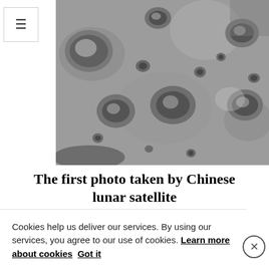[Figure (photo): Black and white photograph of the Moon's cratered surface, taken by a Chinese lunar satellite. Shows multiple craters of varying sizes across a grey lunar landscape.]
The first photo taken by Chinese lunar satellite
Cookies help us deliver our services. By using our services, you agree to our use of cookies. Learn more about cookies  Got it
This is about cookies, taken from the